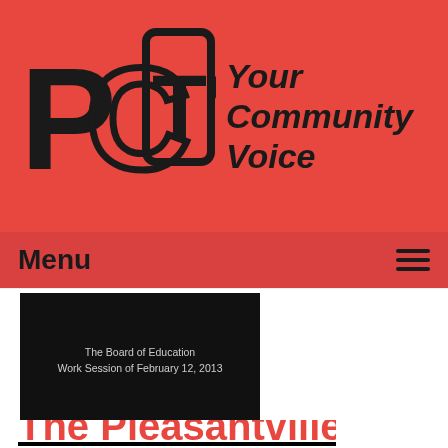PCTV Your Community Voice
Menu
[Figure (screenshot): Thumbnail image showing black background with text: The Board of Education Work Session of February 12, 2013]
The Pleasantville Board of Education Work Session of 02-12-13
Airdate: 02/12/2013